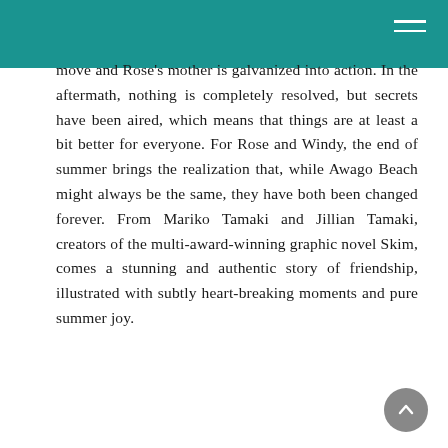move and Rose's mother is galvanized into action. In the aftermath, nothing is completely resolved, but secrets have been aired, which means that things are at least a bit better for everyone. For Rose and Windy, the end of summer brings the realization that, while Awago Beach might always be the same, they have both been changed forever. From Mariko Tamaki and Jillian Tamaki, creators of the multi-award-winning graphic novel Skim, comes a stunning and authentic story of friendship, illustrated with subtly heart-breaking moments and pure summer joy.